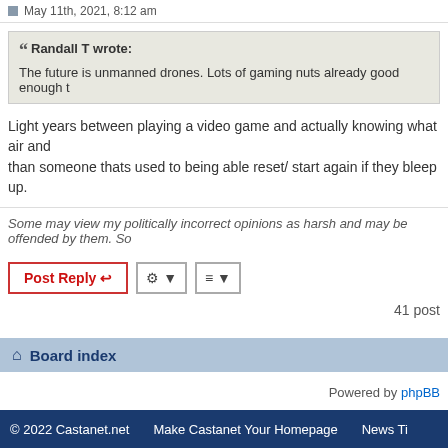May 11th, 2021, 8:12 am
Randall T wrote: The future is unmanned drones. Lots of gaming nuts already good enough t
Light years between playing a video game and actually knowing what air and than someone thats used to being able reset/ start again if they bleep up.
Some may view my politically incorrect opinions as harsh and may be offended by them. So
41 post
Board index
Powered by phpBB
© 2022 Castanet.net    Make Castanet Your Homepage    News Ti